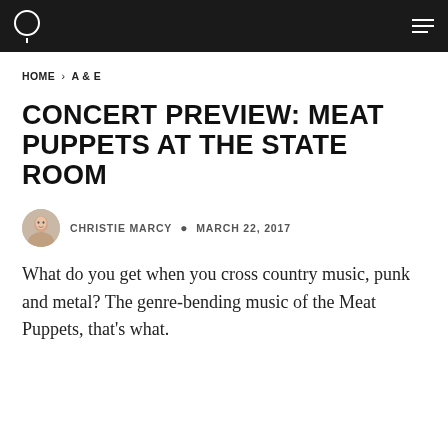Navigation bar with logo and hamburger menu
HOME › A & E
CONCERT PREVIEW: MEAT PUPPETS AT THE STATE ROOM
CHRISTIE MARCY • MARCH 22, 2017
What do you get when you cross country music, punk and metal? The genre-bending music of the Meat Puppets, that's what.